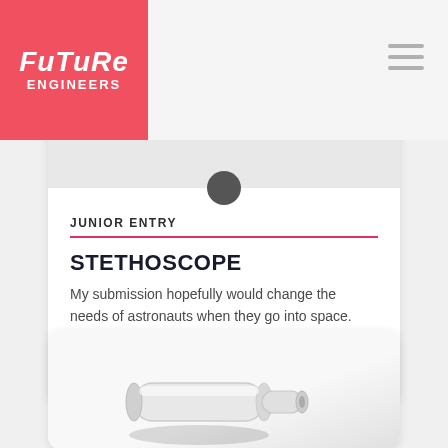[Figure (logo): Future Engineers logo — white handwritten-style text on red/coral background, reading FUTURE ENGINEERS]
[Figure (other): Hamburger menu icon with three horizontal gray lines]
[Figure (other): Card with gray image area showing a small dark circle at top, for Stethoscope junior entry]
JUNIOR ENTRY
STETHOSCOPE
My submission hopefully would change the needs of astronauts when they go into space. The...
VIEW DETAIL
[Figure (illustration): Partial card showing a 3D rendered illustration of a cylindrical tube/pen-like object in white and gray, likely a space tool]